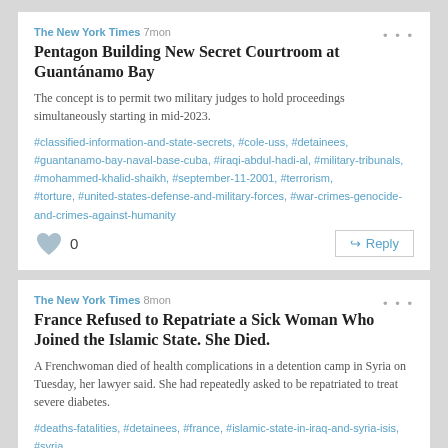The New York Times 7mon
Pentagon Building New Secret Courtroom at Guantánamo Bay
The concept is to permit two military judges to hold proceedings simultaneously starting in mid-2023.
#classified-information-and-state-secrets, #cole-uss, #detainees, #guantanamo-bay-naval-base-cuba, #iraqi-abdul-hadi-al, #military-tribunals, #mohammed-khalid-shaikh, #september-11-2001, #terrorism, #torture, #united-states-defense-and-military-forces, #war-crimes-genocide-and-crimes-against-humanity
0
The New York Times 8mon
France Refused to Repatriate a Sick Woman Who Joined the Islamic State. She Died.
A Frenchwoman died of health complications in a detention camp in Syria on Tuesday, her lawyer said. She had repeatedly asked to be repatriated to treat severe diabetes.
#deaths-fatalities, #detainees, #france, #islamic-state-in-iraq-and-syria-isis, #syria
0